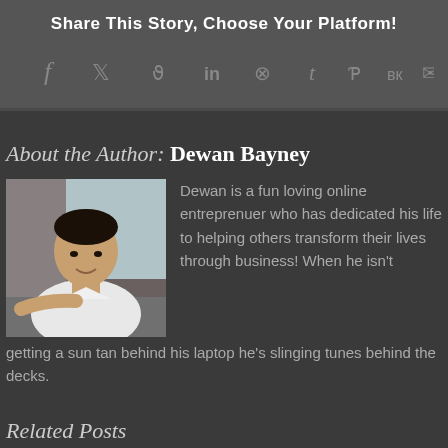Share This Story, Choose Your Platform!
[Figure (infographic): Social sharing icons: Facebook, Twitter, Reddit, LinkedIn, WhatsApp, Tumblr, Pinterest, VK, Email]
About the Author: Dewan Bayney
[Figure (photo): Photo of Dewan Bayney, a man in a white shirt sitting at a table]
Dewan is a fun loving online entreprenuer who has dedicated his life to helping others transform their lives through business! When he isn't getting a sun tan behind his laptop he's slinging tunes behind the decks.
Related Posts